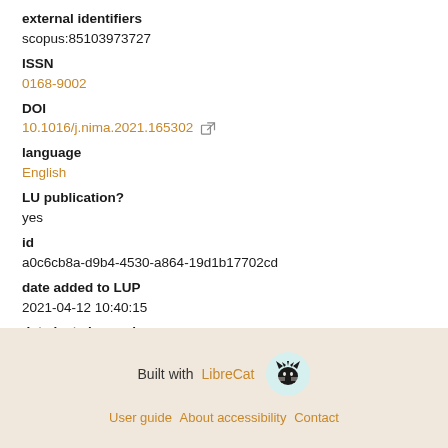external identifiers
scopus:85103973727
ISSN
0168-9002
DOI
10.1016/j.nima.2021.165302
language
English
LU publication?
yes
id
a0c6cb8a-d9b4-4530-a864-19d1b17702cd
date added to LUP
2021-04-12 10:40:15
date last changed
2022-04-27 01:25:34
Built with LibreCat  User guide About accessibility Contact